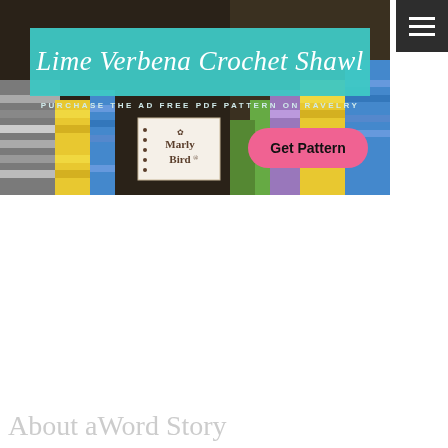[Figure (photo): Banner advertisement for 'Lime Verbena Crochet Shawl' by Marly Bird. Background shows a close-up photo of a colorful crocheted shawl with yellow, blue, green, and grey stripes. Overlaid with a teal banner reading 'Lime Verbena Crochet Shawl' in cursive white text, subtitle 'PURCHASE THE AD FREE PDF PATTERN ON RAVELRY', the Marly Bird logo, and a pink 'Get Pattern' button.]
About aWord Story